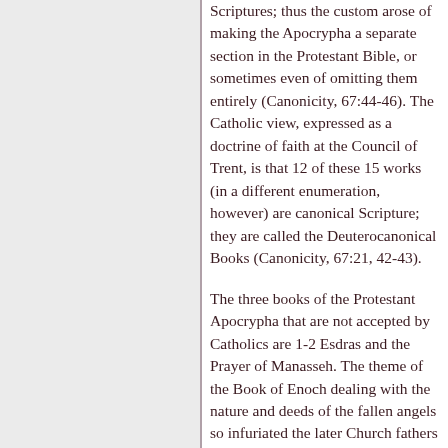Scriptures; thus the custom arose of making the Apocrypha a separate section in the Protestant Bible, or sometimes even of omitting them entirely (Canonicity, 67:44-46). The Catholic view, expressed as a doctrine of faith at the Council of Trent, is that 12 of these 15 works (in a different enumeration, however) are canonical Scripture; they are called the Deuterocanonical Books (Canonicity, 67:21, 42-43).
The three books of the Protestant Apocrypha that are not accepted by Catholics are 1-2 Esdras and the Prayer of Manasseh. The theme of the Book of Enoch dealing with the nature and deeds of the fallen angels so infuriated the later Church fathers that one, Filastrius, actually condemned it openly as heresy (Filastrius, Liber de Haeresibus, no. 108). Nor did the rabbis deign to give credence to the book's teaching